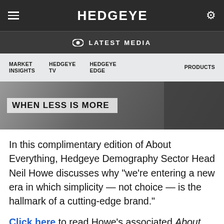HEDGEYE
LATEST MEDIA
MARKET INSIGHTS   HEDGEYE TV   HEDGEYE EDGE   PRODUCTS
[Figure (photo): Partially visible image with text overlay reading 'WHEN LESS IS MORE' on a light background, dark room/exhibition environment behind it.]
In this complimentary edition of About Everything, Hedgeye Demography Sector Head Neil Howe discusses why "we're entering a new era in which simplicity — not choice — is the hallmark of a cutting-edge brand."
Click here to read Howe's associated About